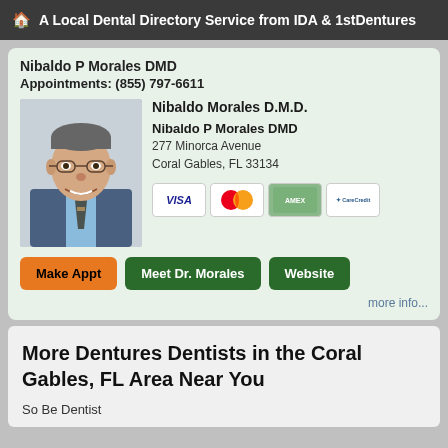A Local Dental Directory Service from IDA & 1stDentures
Nibaldo P Morales DMD
Appointments: (855) 797-6611
[Figure (photo): Professional headshot of Dr. Nibaldo Morales, a middle-aged man wearing glasses and a suit with tie]
Nibaldo Morales D.M.D.
Nibaldo P Morales DMD
277 Minorca Avenue
Coral Gables, FL 33134
[Figure (other): Payment method icons: VISA, MasterCard, American Express, CareCredit]
Make Appt   Meet Dr. Morales   Website
more info...
More Dentures Dentists in the Coral Gables, FL Area Near You
So Be Dentist